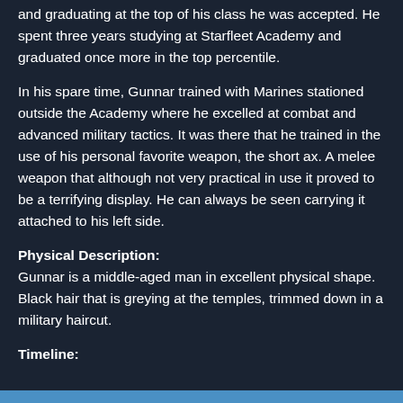and graduating at the top of his class he was accepted. He spent three years studying at Starfleet Academy and graduated once more in the top percentile.
In his spare time, Gunnar trained with Marines stationed outside the Academy where he excelled at combat and advanced military tactics. It was there that he trained in the use of his personal favorite weapon, the short ax. A melee weapon that although not very practical in use it proved to be a terrifying display. He can always be seen carrying it attached to his left side.
Physical Description:
Gunnar is a middle-aged man in excellent physical shape. Black hair that is greying at the temples, trimmed down in a military haircut.
Timeline:
[Figure (other): Blue horizontal bar/stripe at the bottom of the page indicating a timeline section]